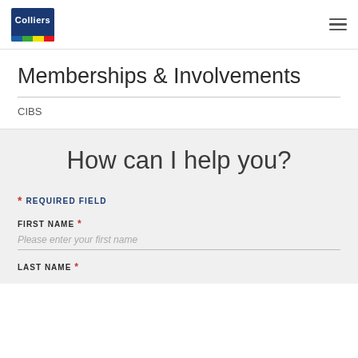[Figure (logo): Colliers logo — dark blue rectangle with 'Colliers' in white text and colored stripes at bottom (blue, green, yellow, red)]
Memberships & Involvements
CIBS
How can I help you?
* REQUIRED FIELD
FIRST NAME *
Please enter your first name
LAST NAME *